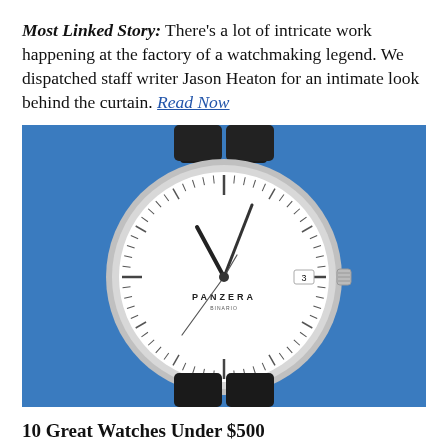Most Linked Story: There's a lot of intricate work happening at the factory of a watchmaking legend. We dispatched staff writer Jason Heaton for an intimate look behind the curtain. Read Now
[Figure (photo): A Panzera watch with a white dial, silver case, black leather strap, displayed on a blue background. The watch face shows 'PANZERA' text, date window showing 3, and slim hands.]
10 Great Watches Under $500